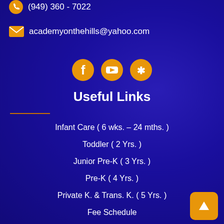(949) 360 - 7022
academyonthehills@yahoo.com
[Figure (illustration): Three social media icon buttons: Facebook, YouTube, Yelp — orange circles with white icons]
Useful Links
Infant Care ( 6 wks. – 24 mths. )
Toddler ( 2 Yrs. )
Junior Pre-K ( 3 Yrs. )
Pre-K ( 4 Yrs. )
Private K. & Trans. K. ( 5 Yrs. )
Fee Schedule